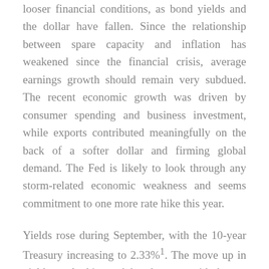looser financial conditions, as bond yields and the dollar have fallen. Since the relationship between spare capacity and inflation has weakened since the financial crisis, average earnings growth should remain very subdued. The recent economic growth was driven by consumer spending and business investment, while exports contributed meaningfully on the back of a softer dollar and firming global demand. The Fed is likely to look through any storm-related economic weakness and seems commitment to one more rate hike this year.
Yields rose during September, with the 10-year Treasury increasing to 2.33%1. The move up in yields resulted in weak bond returns with the